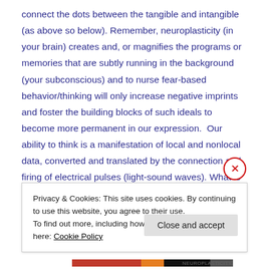connect the dots between the tangible and intangible (as above so below). Remember, neuroplasticity (in your brain) creates and, or magnifies the programs or memories that are subtly running in the background (your subconscious) and to nurse fear-based behavior/thinking will only increase negative imprints and foster the building blocks of such ideals to become more permanent in our expression.  Our ability to think is a manifestation of local and nonlocal data, converted and translated by the connection and firing of electrical pulses (light-sound waves). What is going on behind the scenes (subconscious/superconscious)  can counter your so-called waking
Privacy & Cookies: This site uses cookies. By continuing to use this website, you agree to their use.
To find out more, including how to control cookies, see here: Cookie Policy